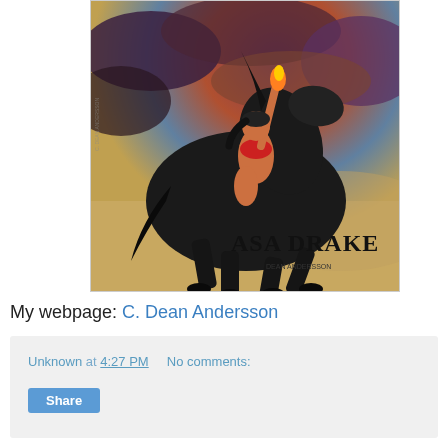[Figure (illustration): Book cover for 'Asa Drake' showing a woman warrior in red clothing riding a large dark black horse. The background has dramatic red, blue and purple cloudy sky. The text 'ASA DRAKE' appears in bold black letters at the bottom right of the cover.]
My webpage: C. Dean Andersson
Unknown at 4:27 PM   No comments:
Share